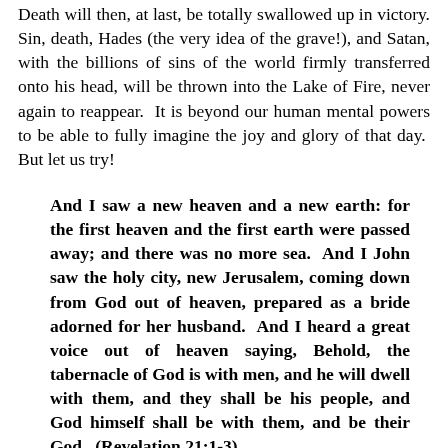Death will then, at last, be totally swallowed up in victory. Sin, death, Hades (the very idea of the grave!), and Satan, with the billions of sins of the world firmly transferred onto his head, will be thrown into the Lake of Fire, never again to reappear. It is beyond our human mental powers to be able to fully imagine the joy and glory of that day. But let us try!
And I saw a new heaven and a new earth: for the first heaven and the first earth were passed away; and there was no more sea. And I John saw the holy city, new Jerusalem, coming down from God out of heaven, prepared as a bride adorned for her husband. And I heard a great voice out of heaven saying, Behold, the tabernacle of God is with men, and he will dwell with them, and they shall be his people, and God himself shall be with them, and be their God. (Revelation 21:1-3)
Try to imagine the blinding sight of God the Father, side-by-side with His holy Son – the combined light of which no human eye has ever seen. Try to imagine God the Father –